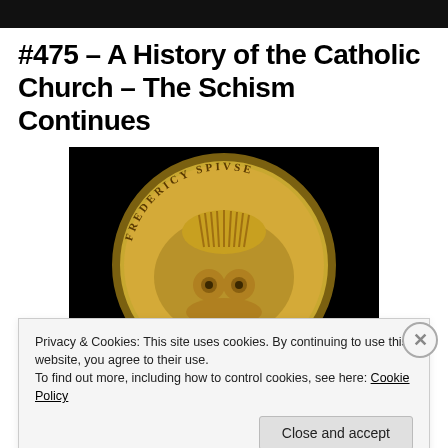[Figure (photo): Black top bar from webpage header image]
#475 – A History of the Catholic Church – The Schism Continues
[Figure (photo): Close-up photograph of an ancient gold coin on a black background. The coin shows text reading 'FREDERICY' and 'SPIVSE' around the edge, with a decorative face/bust relief in the center.]
Privacy & Cookies: This site uses cookies. By continuing to use this website, you agree to their use.
To find out more, including how to control cookies, see here: Cookie Policy